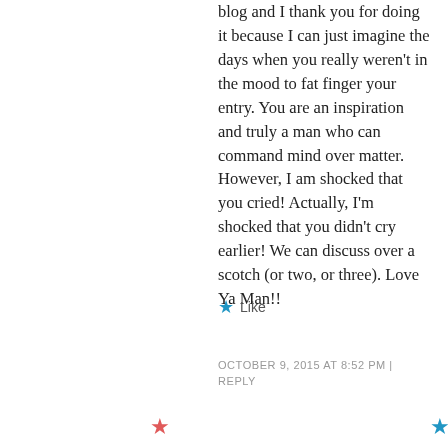blog and I thank you for doing it because I can just imagine the days when you really weren't in the mood to fat finger your entry. You are an inspiration and truly a man who can command mind over matter. However, I am shocked that you cried! Actually, I'm shocked that you didn't cry earlier! We can discuss over a scotch (or two, or three). Love Ya Man!!
Like
OCTOBER 9, 2015 AT 8:52 PM | REPLY